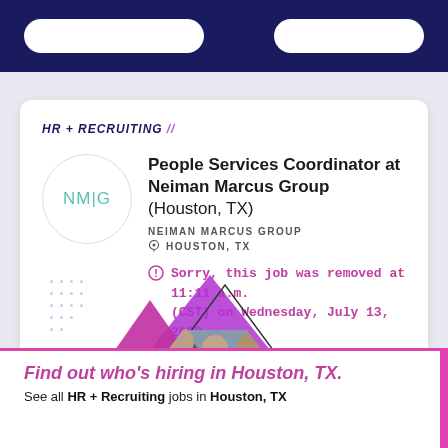HR + RECRUITING //
People Services Coordinator at Neiman Marcus Group (Houston, TX)
NEIMAN MARCUS GROUP
HOUSTON, TX
Sorry, this job was removed at 11:11 a.m. (CST) on Wednesday, July 13, 2022
[Figure (photo): Decorative image with purple triangles and photo of people]
Find out who's hiring in Houston, TX.
See all HR + Recruiting jobs in Houston, TX